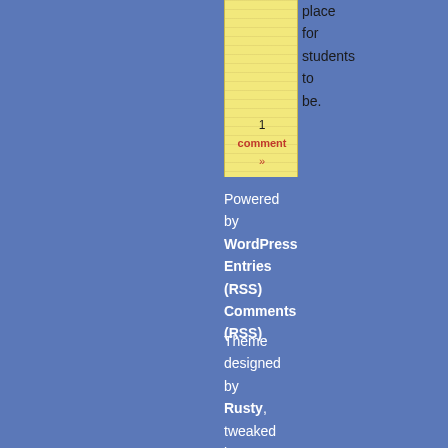[Figure (illustration): A vertical yellow/cream colored card or ruler strip with text and horizontal line texture]
place for students to be.
1 comment »
Powered by WordPress Entries (RSS) Comments (RSS)
Theme designed by Rusty, tweaked by Ron & Andrea